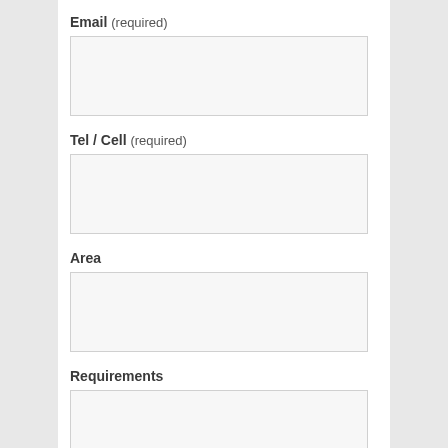Email (required)
[Figure (other): Empty input field for Email]
Tel / Cell (required)
[Figure (other): Empty input field for Tel / Cell]
Area
[Figure (other): Empty input field for Area]
Requirements
[Figure (other): Empty large input field for Requirements]